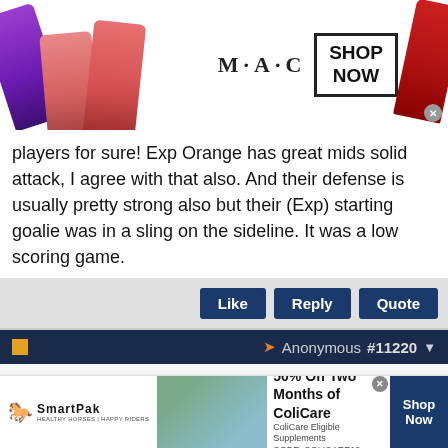[Figure (photo): MAC Cosmetics advertisement banner showing lipsticks and SHOP NOW button]
players for sure! Exp Orange has great mids solid attack, I agree with that also. And their defense is usually pretty strong also but their (Exp) starting goalie was in a sling on the sideline. It was a low scoring game.
[Figure (other): Like, Reply, Quote action buttons bar]
Anonymous #11220
Anonymous
Unregistered
"(Exp) starting goalie was in a sling on the sideline. It was a low scoring game." I dont see the connection (maybe I do).
[Figure (photo): SmartPak advertisement banner - 50% Off Two Months of ColiCare, ColiCare Eligible Supplements CODE: COLICARE10]